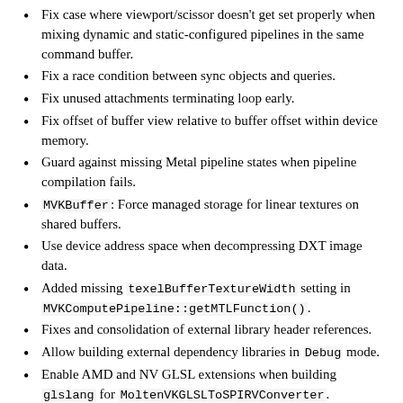Fix case where viewport/scissor doesn't get set properly when mixing dynamic and static-configured pipelines in the same command buffer.
Fix a race condition between sync objects and queries.
Fix unused attachments terminating loop early.
Fix offset of buffer view relative to buffer offset within device memory.
Guard against missing Metal pipeline states when pipeline compilation fails.
MVKBuffer: Force managed storage for linear textures on shared buffers.
Use device address space when decompressing DXT image data.
Added missing texelBufferTextureWidth setting in MVKComputePipeline::getMTLFunction().
Fixes and consolidation of external library header references.
Allow building external dependency libraries in Debug mode.
Enable AMD and NV GLSL extensions when building glslang for MoltenVKGLSLToSPIRVConverter.